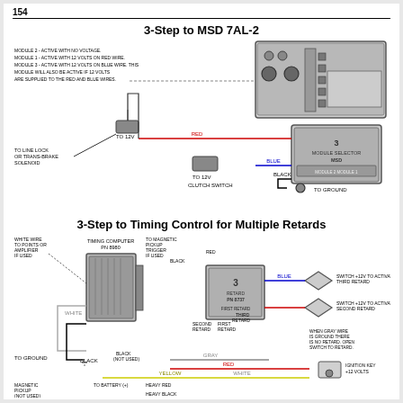154
3-Step to MSD 7AL-2
[Figure (schematic): Wiring diagram showing 3-Step Module Selector (MSD) connected to MSD 7AL-2 ignition box. Labels include: MODULE 2 - ACTIVE WITH NO VOLTAGE, MODULE 1 - ACTIVE WITH 12 VOLTS ON RED WIRE, MODULE 3 - ACTIVE WITH 12 VOLTS ON BLUE WIRE. THIS MODULE WILL ALSO BE ACTIVE IF 12 VOLTS ARE SUPPLIED TO THE RED AND BLUE WIRES. Connections shown: TO LINE LOCK OR TRANS-BRAKE SOLENOID, TO 12V, RED wire, BLUE wire, BLACK wire, TO GROUND, CLUTCH SWITCH, TO 12V.]
3-Step to Timing Control for Multiple Retards
[Figure (schematic): Wiring diagram for 3-Step to Timing Control for Multiple Retards. Shows TIMING COMPUTER PN 8980 connected to 3-Step Module (PN 8737). Labels include: WHITE WIRE TO POINTS OR AMPLIFIER IF USED, TO MAGNETIC PICKUP TRIGGER IF USED, TO GROUND, WHITE wire, BLACK wire, GRAY wire, YELLOW wire, WHITE wire, RED wire, BLUE wire, HEAVY RED, HEAVY BLACK. Switch labels: SWITCH +12V TO ACTIVATE THIRD RETARD, SWITCH +12V TO ACTIVATE SECOND RETARD. THIRD RETARD, SECOND RETARD, FIRST RETARD. WHEN GRAY WIRE IS GROUND THERE IS NO RETARD. OPEN SWITCH TO RETARD. IGNITION KEY +12 VOLTS. MAGNETIC PICKUP (NOT USED), TO BATTERY (+).]